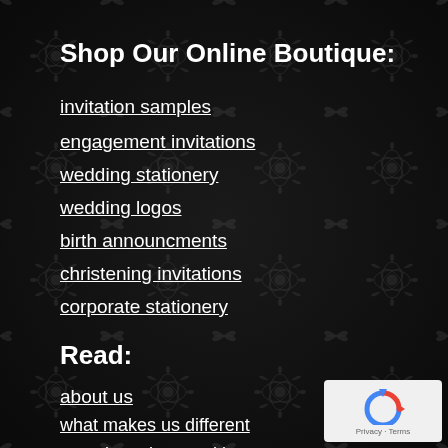Shop Our Online Boutique:
invitation samples
engagement invitations
wedding stationery
wedding logos
birth announcments
christening invitations
corporate stationery
Read:
about us
what makes us different
awards and recognition
media and press
client feedback